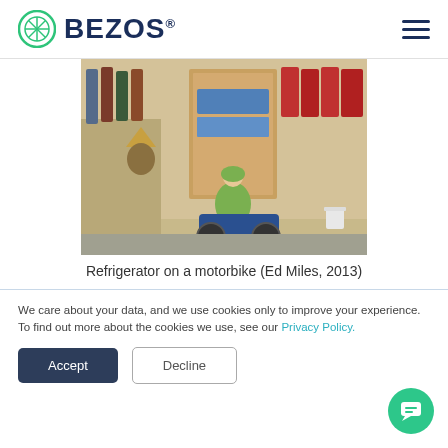BEZOS®
[Figure (photo): A person on a motorbike carrying a large cardboard box (refrigerator) through a busy market street in Southeast Asia.]
Refrigerator on a motorbike (Ed Miles, 2013)
We care about your data, and we use cookies only to improve your experience. To find out more about the cookies we use, see our Privacy Policy.